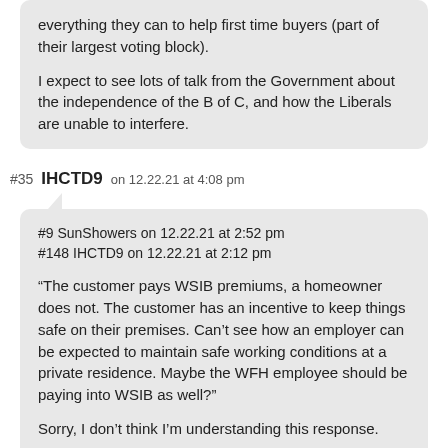everything they can to help first time buyers (part of their largest voting block).

I expect to see lots of talk from the Government about the independence of the B of C, and how the Liberals are unable to interfere.
#35 IHCTD9 on 12.22.21 at 4:08 pm
#9 SunShowers on 12.22.21 at 2:52 pm
#148 IHCTD9 on 12.22.21 at 2:12 pm
“The customer pays WSIB premiums, a homeowner does not. The customer has an incentive to keep things safe on their premises. Can’t see how an employer can be expected to maintain safe working conditions at a private residence. Maybe the WFH employee should be paying into WSIB as well?”

Sorry, I don’t think I’m understanding this response.

If a worker goes to a homeowner’s house to perform work during work hours and falls down the stairs, the worker is covered by the WCB and their employer pays increased WSIB premiums, not the homeowner.